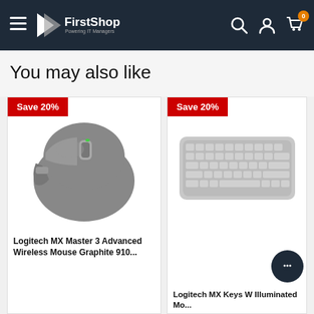FirstShop - Powering IT Managers navigation bar
You may also like
[Figure (photo): Product card showing Logitech MX Master 3 Advanced Wireless Mouse in Graphite with Save 20% badge]
Logitech MX Master 3 Advanced Wireless Mouse Graphite 910...
[Figure (photo): Product card showing Logitech MX Keys Wireless Illuminated Keyboard with Save 20% badge]
Logitech MX Keys W Illuminated...